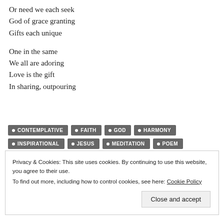Or need we each seek
God of grace granting
Gifts each unique
One in the same
We all are adoring
Love is the gift
In sharing, outpouring
CONTEMPLATIVE
FAITH
GOD
HARMONY
INSPIRATIONAL
JESUS
MEDITATION
POEM
POETRY
PRAYER
SOULS
SPIRITUAL
Privacy & Cookies: This site uses cookies. By continuing to use this website, you agree to their use.
To find out more, including how to control cookies, see here: Cookie Policy